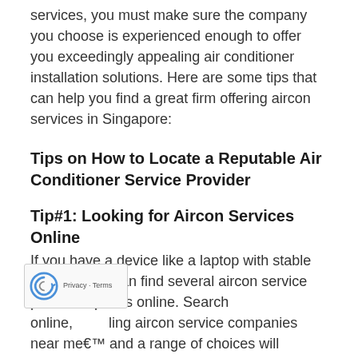services, you must make sure the company you choose is experienced enough to offer you exceedingly appealing air conditioner installation solutions. Here are some tips that can help you find a great firm offering aircon services in Singapore:
Tips on How to Locate a Reputable Air Conditioner Service Provider
Tip#1: Looking for Aircon Services Online
If you have a device like a laptop with stable internet, you can find several aircon service provider options online. Search online, ling aircon service companies near mea€™ and a range of choices will appear